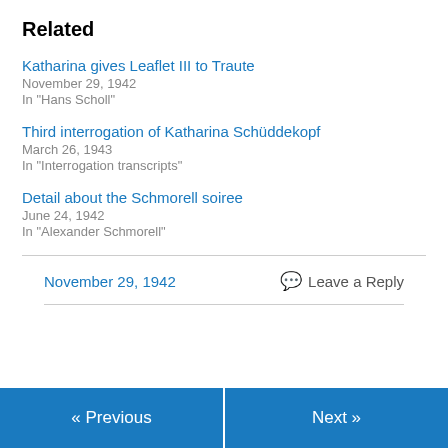Related
Katharina gives Leaflet III to Traute
November 29, 1942
In "Hans Scholl"
Third interrogation of Katharina Schüddekopf
March 26, 1943
In "Interrogation transcripts"
Detail about the Schmorell soiree
June 24, 1942
In "Alexander Schmorell"
November 29, 1942
Leave a Reply
« Previous
Next »